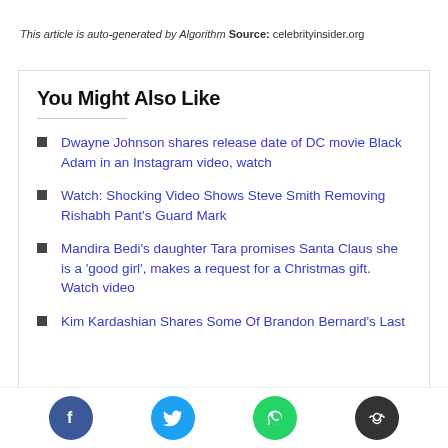This article is auto-generated by Algorithm Source: celebrityinsider.org
You Might Also Like
Dwayne Johnson shares release date of DC movie Black Adam in an Instagram video, watch
Watch: Shocking Video Shows Steve Smith Removing Rishabh Pant's Guard Mark
Mandira Bedi's daughter Tara promises Santa Claus she is a 'good girl', makes a request for a Christmas gift. Watch video
Kim Kardashian Shares Some Of Brandon Bernard's Last